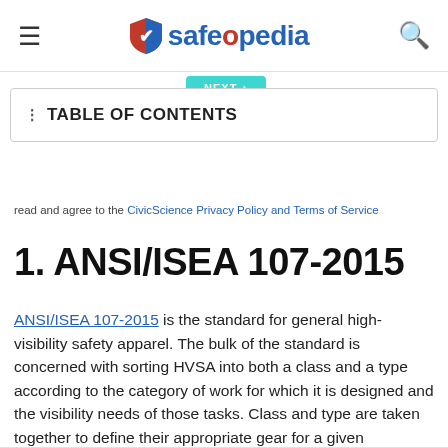safeopedia
TABLE OF CONTENTS
read and agree to the CivicScience Privacy Policy and Terms of Service
1. ANSI/ISEA 107-2015
ANSI/ISEA 107-2015 is the standard for general high-visibility safety apparel. The bulk of the standard is concerned with sorting HVSA into both a class and a type according to the category of work for which it is designed and the visibility needs of those tasks. Class and type are taken together to define their appropriate gear for a given application.